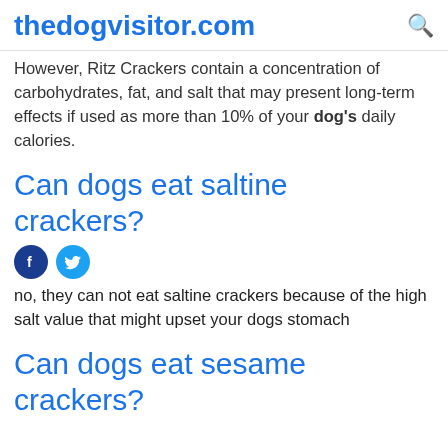thedogvisitor.com
However, Ritz Crackers contain a concentration of carbohydrates, fat, and salt that may present long-term effects if used as more than 10% of your dog's daily calories.
Can dogs eat saltine crackers?
[Figure (other): Facebook and Twitter social share icons]
no, they can not eat saltine crackers because of the high salt value that might upset your dogs stomach
Can dogs eat sesame crackers?